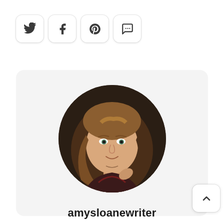[Figure (other): Four social media icon buttons in rounded square boxes: Twitter bird, Facebook f, Pinterest p, and speech bubble with ellipsis]
[Figure (photo): Circular profile photo of a young woman with long wavy blonde hair, smiling, dark background, wearing a patterned top]
amysloanewriter